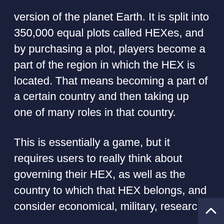version of the planet Earth. It is split into 350,000 equal plots called HEXes, and by purchasing a plot, players become a part of the region in which the HEX is located. That means becoming a part of a certain country and then taking up one of many roles in that country.
This is essentially a game, but it requires users to really think about governing their HEX, as well as the country to which that HEX belongs, and consider economical, military, research,